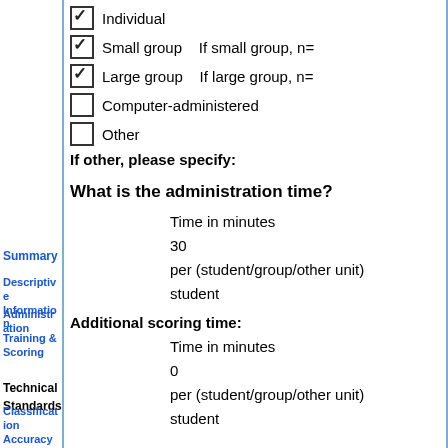☑ Individual
☑ Small group   If small group, n=
☑ Large group   If large group, n=
☐ Computer-administered
☐ Other
If other, please specify:
What is the administration time?
Time in minutes
30
per (student/group/other unit)
student
Summary
Descriptive Information
Administration
Training & Scoring
Additional scoring time:
Time in minutes
0
per (student/group/other unit)
student
Technical Standards
Classification Accuracy & Cross-Validation Summary